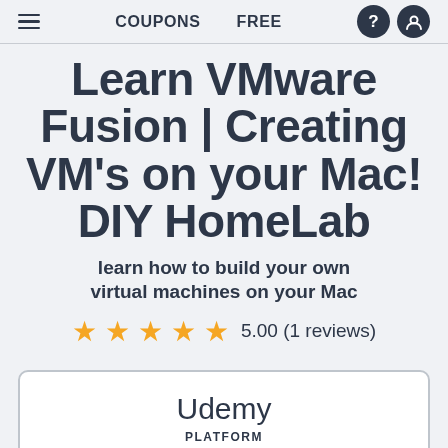COUPONS   FREE
Learn VMware Fusion | Creating VM's on your Mac! DIY HomeLab
learn how to build your own virtual machines on your Mac
5.00 (1 reviews)
Udemy
PLATFORM